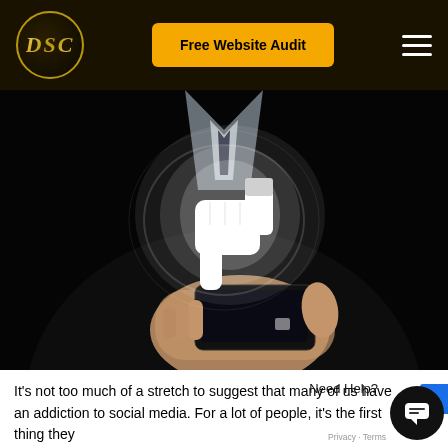DSC [logo] | Free Website Audit [button] | Menu [hamburger]
[Figure (photo): A hand holding a smartphone with a glowing white thumbs-down icon floating above it against a dark background, suggesting social media dislike.]
It's not too much of a stretch to suggest that many of us have an addiction to social media. For a lot of people, it's the first thing they